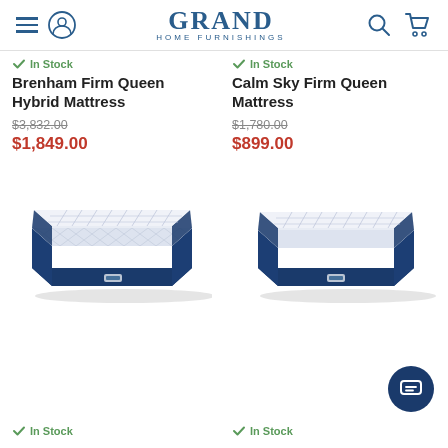Grand Home Furnishings
In Stock
Brenham Firm Queen Hybrid Mattress
$3,832.00 (original price) $1,849.00 (sale price)
In Stock
Calm Sky Firm Queen Mattress
$1,780.00 (original price) $899.00 (sale price)
[Figure (photo): Brenham Firm Queen Hybrid Mattress product photo showing a quilted white top with navy blue sides]
[Figure (photo): Calm Sky Firm Queen Mattress product photo showing a quilted white top with navy blue sides]
In Stock
In Stock